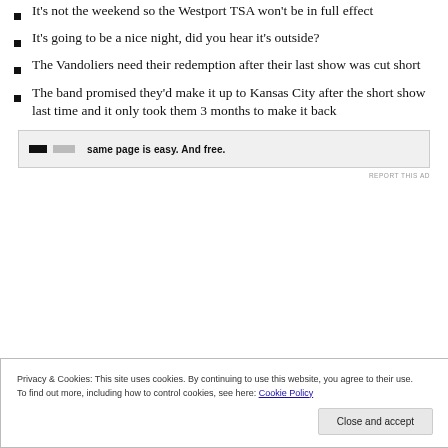It's not the weekend so the Westport TSA won't be in full effect
It's going to be a nice night, did you hear it's outside?
The Vandoliers need their redemption after their last show was cut short
The band promised they'd make it up to Kansas City after the short show last time and it only took them 3 months to make it back
[Figure (other): Advertisement banner with black rectangle, gray rectangle, and bold text reading 'same page is easy. And free.' with 'REPORT THIS AD' label below]
Privacy & Cookies: This site uses cookies. By continuing to use this website, you agree to their use.
To find out more, including how to control cookies, see here: Cookie Policy
Close and accept